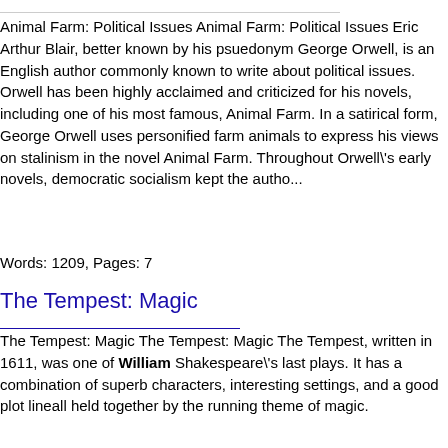Animal Farm: Political Issues Animal Farm: Political Issues Eric Arthur Blair, better known by his psuedonym George Orwell, is an English author commonly known to write about political issues. Orwell has been highly acclaimed and criticized for his novels, including one of his most famous, Animal Farm. In a satirical form, George Orwell uses personified farm animals to express his views on stalinism in the novel Animal Farm. Throughout Orwell\'s early novels, democratic socialism kept the autho...
Words: 1209, Pages: 7
The Tempest: Magic
The Tempest: Magic The Tempest: Magic The Tempest, written in 1611, was one of William Shakespeare\'s last plays. It has a combination of superb characters, interesting settings, and a good plot lineall held together by the running theme of magic.